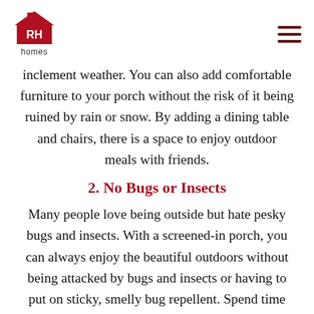[Figure (logo): RH Homes logo: red house icon with RH in white text inside, and 'homes' in black text below]
inclement weather. You can also add comfortable furniture to your porch without the risk of it being ruined by rain or snow. By adding a dining table and chairs, there is a space to enjoy outdoor meals with friends.
2. No Bugs or Insects
Many people love being outside but hate pesky bugs and insects. With a screened-in porch, you can always enjoy the beautiful outdoors without being attacked by bugs and insects or having to put on sticky, smelly bug repellent. Spend time outside at night without fear of